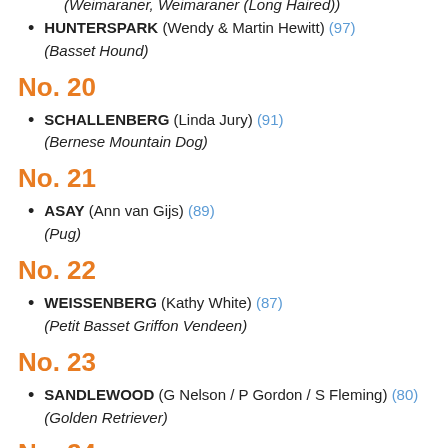(Weimaraner, Weimaraner (Long Haired))
HUNTERSPARK (Wendy & Martin Hewitt) (97) (Basset Hound)
No. 20
SCHALLENBERG (Linda Jury) (91) (Bernese Mountain Dog)
No. 21
ASAY (Ann van Gijs) (89) (Pug)
No. 22
WEISSENBERG (Kathy White) (87) (Petit Basset Griffon Vendeen)
No. 23
SANDLEWOOD (G Nelson / P Gordon / S Fleming) (80) (Golden Retriever)
No. 24